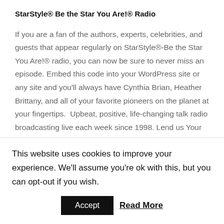StarStyle® Be the Star You Are!® Radio
If you are a fan of the authors, experts, celebrities, and guests that appear regularly on StarStyle®-Be the Star You Are!® radio, you can now be sure to never miss an episode. Embed this code into your WordPress site or any site and you'll always have Cynthia Brian, Heather Brittany, and all of your favorite pioneers on the planet at your fingertips. Upbeat, positive, life-changing talk radio broadcasting live each week since 1998. Lend us Your
This website uses cookies to improve your experience. We'll assume you're ok with this, but you can opt-out if you wish.
Accept
Read More